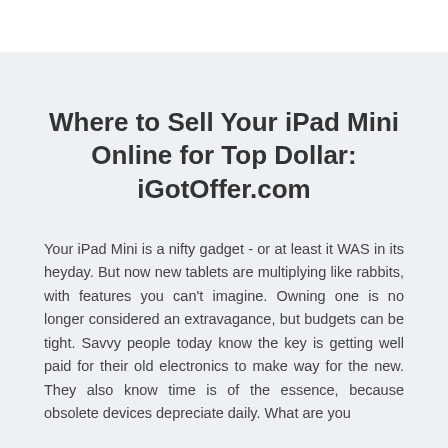Where to Sell Your iPad Mini Online for Top Dollar: iGotOffer.com
Your iPad Mini is a nifty gadget - or at least it WAS in its heyday. But now new tablets are multiplying like rabbits, with features you can't imagine. Owning one is no longer considered an extravagance, but budgets can be tight. Savvy people today know the key is getting well paid for their old electronics to make way for the new. They also know time is of the essence, because obsolete devices depreciate daily. What are you